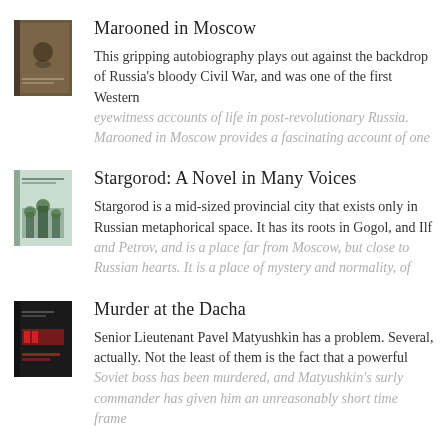[Figure (illustration): Book cover for Marooned in Moscow, dark brownish cover with small figure]
Marooned in Moscow
This gripping autobiography plays out against the backdrop of Russia's bloody Civil War, and was one of the first Western eyewitness accounts of life in post-revolutionary Russia. Marooned in Moscow provides a fascinating account of one
[Figure (illustration): Book cover for Stargorod: A Novel in Many Voices, light blue/green with city illustration]
Stargorod: A Novel in Many Voices
Stargorod is a mid-sized provincial city that exists only in Russian metaphorical space. It has its roots in Gogol, and Ilf and Petrov, and is a place far from Moscow, but close to Russian hearts. It is a place of mystery and normality, of
[Figure (illustration): Book cover for Murder at the Dacha, dark cover with red text]
Murder at the Dacha
Senior Lieutenant Pavel Matyushkin has a problem. Several, actually. Not the least of them is the fact that a powerful Soviet boss has been murdered, and Matyushkin's surly commander has given him an unreasonably short time frame
[Figure (illustration): Partial book cover visible at bottom, The Book of Russian Life]